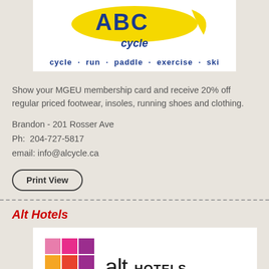[Figure (logo): ABC Cycle logo with yellow swoosh shape, blue text 'cycle' below, and blue tagline 'cycle · run · paddle · exercise · ski']
Show your MGEU membership card and receive 20% off regular priced footwear, insoles, running shoes and clothing.
Brandon - 201 Rosser Ave
Ph:  204-727-5817
email: info@alcycle.ca
Print View
Alt Hotels
[Figure (logo): Alt Hotels by Le Germain logo — colorful square grid on left, 'alt HOTELS BY LE GERMAIN' text on right]